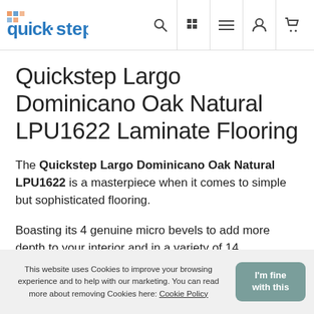Quick-step logo and navigation bar with search, grid, menu, user, and cart icons
Quickstep Largo Dominicano Oak Natural LPU1622 Laminate Flooring
The Quickstep Largo Dominicano Oak Natural LPU1622 is a masterpiece when it comes to simple but sophisticated flooring.
Boasting its 4 genuine micro bevels to add more depth to your interior and in a variety of 14 colours/styles you can be sure you have enough selection to make the Largo range apart of your home.
This website uses Cookies to improve your browsing experience and to help with our marketing. You can read more about removing Cookies here: Cookie Policy | I'm fine with this